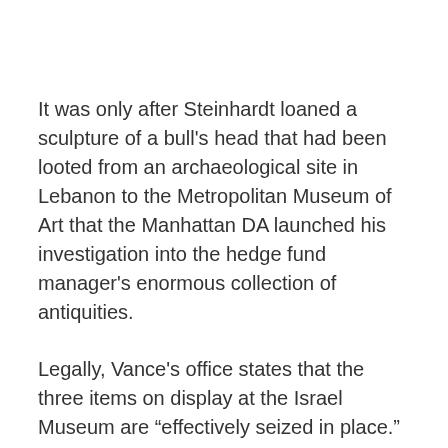It was only after Steinhardt loaned a sculpture of a bull's head that had been looted from an archaeological site in Lebanon to the Metropolitan Museum of Art that the Manhattan DA launched his investigation into the hedge fund manager's enormous collection of antiquities.
Legally, Vance's office states that the three items on display at the Israel Museum are “effectively seized in place.” The DA has started talks with Israel in hopes that 28 additional items may one